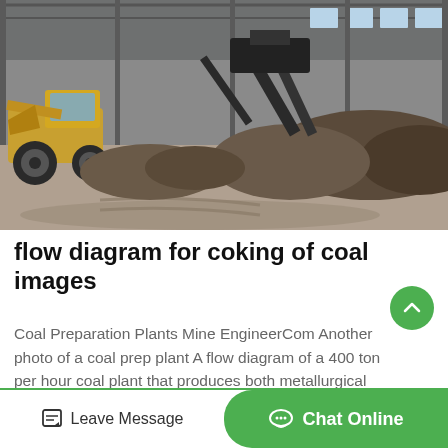[Figure (photo): Industrial coal preparation plant interior showing heavy machinery, a wheeled loader/front-end loader on the left, conveyor belt structures, and large piles of coal/gravel inside a warehouse with steel roof structure and windows]
flow diagram for coking of coal images
Coal Preparation Plants Mine EngineerCom Another photo of a coal prep plant A flow diagram of a 400 ton per hour coal plant that produces both metallurgical coal and steam coal for power generation
Leave Message  Chat Online